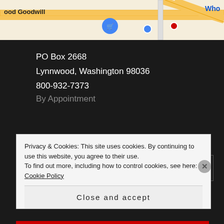[Figure (map): Google Maps partial view showing street map with Goodwill location, route 524 marker, and orange road lines]
PO Box 2668
Lynnwood, Washington 98036
800-932-7373
By Appointment
Search ...
Privacy & Cookies: This site uses cookies. By continuing to use this website, you agree to their use.
To find out more, including how to control cookies, see here: Cookie Policy
Close and accept